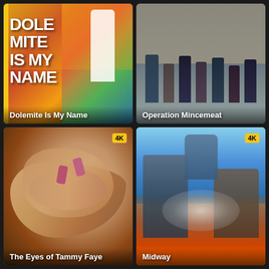[Figure (photo): Movie poster for 'Dolemite Is My Name' showing bold white text on colorful background with people]
Dolemite Is My Name
[Figure (photo): Movie poster for 'Operation Mincemeat' showing group of people in WWII-era military and civilian clothing]
Operation Mincemeat
[Figure (photo): Movie poster for 'The Eyes of Tammy Faye' showing close-up of hands covering a face, with 4K badge]
The Eyes of Tammy Faye
[Figure (photo): Movie poster for 'Midway' showing WWII pilot and battle scenes with explosion, with 4K badge]
Midway